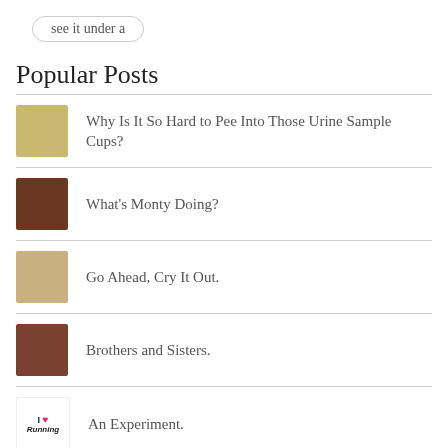see it under a
Popular Posts
Why Is It So Hard to Pee Into Those Urine Sample Cups?
What's Monty Doing?
Go Ahead, Cry It Out.
Brothers and Sisters.
An Experiment.